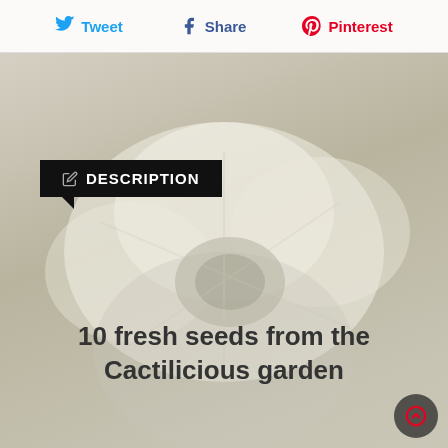Tweet  Share  Pinterest
DESCRIPTION
10 fresh seeds from the Cactilicious garden
RELATED PRODUCTS
[Figure (photo): Background photo of white cactus flowers, blurred/faded]
[Figure (photo): Four product thumbnail photos: yellow cactus flower, dark round cactus, red cactus flowers, red and white cactus flower]